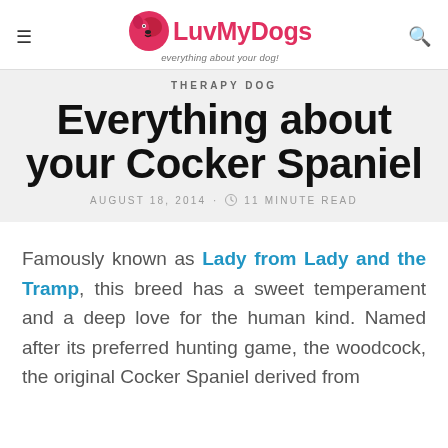LuvMyDogs — everything about your dog!
THERAPY DOG
Everything about your Cocker Spaniel
AUGUST 18, 2014 · 11 MINUTE READ
Famously known as Lady from Lady and the Tramp, this breed has a sweet temperament and a deep love for the human kind. Named after its preferred hunting game, the woodcock, the original Cocker Spaniel derived from